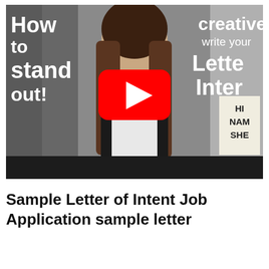[Figure (screenshot): YouTube video thumbnail showing a young Asian woman with long brown hair wearing a white top and black dress over it. Left side has bold white text 'How to stand out!' and right side has white text 'creative write your Lette Inter'. A red YouTube play button is centered on the image. Bottom right shows a light board sign with 'HI NAM SHE'. Bottom has a black bar.]
Sample Letter of Intent Job Application sample letter